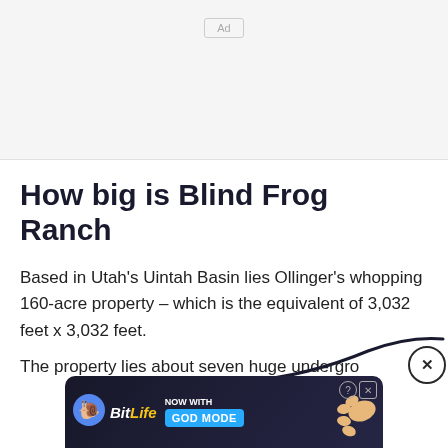[Figure (other): Ad placeholder box with 'Ad' label in a rounded rectangle, light gray background]
How big is Blind Frog Ranch
Based in Utah's Uintah Basin lies Ollinger's whopping 160-acre property – which is the equivalent of 3,032 feet x 3,032 feet.
The property lies about seven huge undergro
[Figure (other): BitLife advertisement banner with 'NOW WITH GOD MODE' text, hand graphic, help and close buttons]